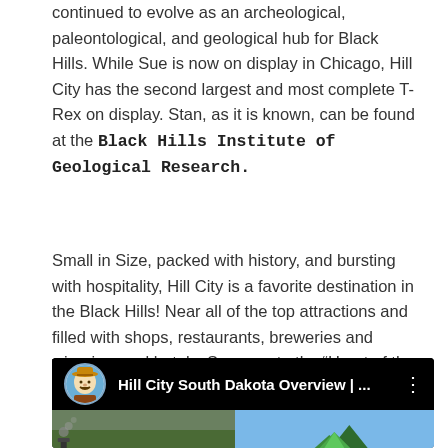continued to evolve as an archeological, paleontological, and geological hub for Black Hills. While Sue is now on display in Chicago, Hill City has the second largest and most complete T-Rex on display. Stan, as it is known, can be found at the Black Hills Institute of Geological Research.
Small in Size, packed with history, and bursting with hospitality, Hill City is a favorite destination in the Black Hills! Near all of the top attractions and filled with shops, restaurants, breweries and wineries, and hotels. So come to the “Heart of the Hills”. You’ll be glad you did.
[Figure (screenshot): YouTube video thumbnail showing 'Hill City South Dakota Overview | ...' with a cowboy avatar icon on the left, title text in white on black background, three-dot menu icon, and a split preview image showing a steam train on the left and green mountain logo on blue sky on the right.]